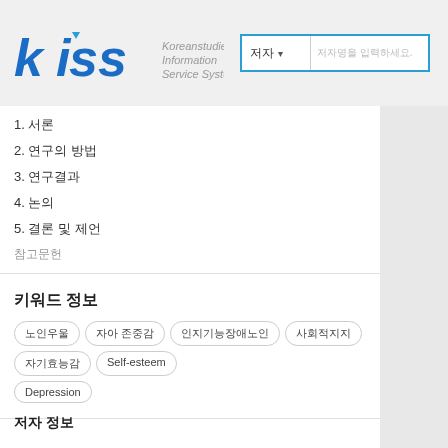KISS Koreanstudies Information Service System
1. 서론
2. 연구의 방법
3. 연구결과
4. 논의
5. 결론 및 제언
참고문헌
키워드 정보
노인우울 ; 자아 존중감 ; 인지기능장애노인 ; 사회적지지 ; 자기효능감 ; Self-esteem ; Depression
저자 정보